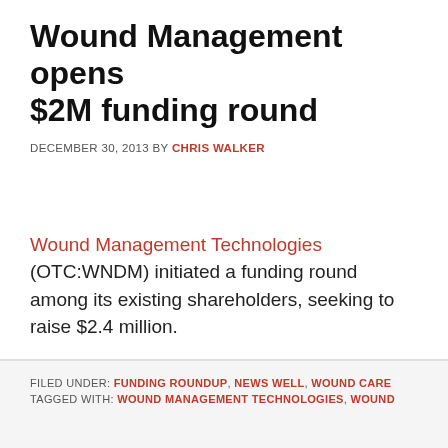Wound Management opens $2M funding round
DECEMBER 30, 2013 BY CHRIS WALKER
Wound Management Technologies (OTC:WNDM) initiated a funding round among its existing shareholders, seeking to raise $2.4 million.
FILED UNDER: FUNDING ROUNDUP, NEWS WELL, WOUND CARE
TAGGED WITH: WOUND MANAGEMENT TECHNOLOGIES, WOUND